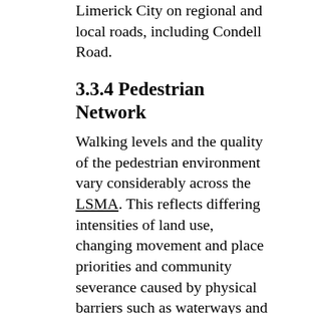Limerick City on regional and local roads, including Condell Road.
3.3.4 Pedestrian Network
Walking levels and the quality of the pedestrian environment vary considerably across the LSMA. This reflects differing intensities of land use, changing movement and place priorities and community severance caused by physical barriers such as waterways and heavily trafficked vehicular routes.
The quality of the pedestrian environment in the City Centre has improved in recent times following the partial